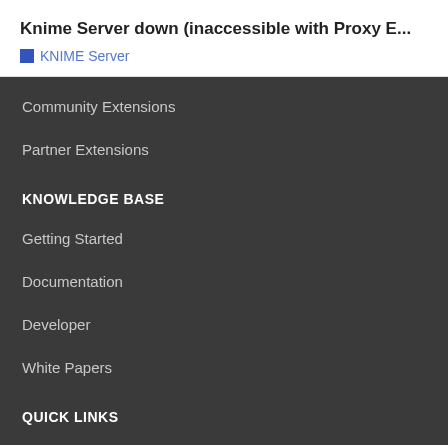Knime Server down (inaccessible with Proxy E...
KNIME Server
Community Extensions
Partner Extensions
KNOWLEDGE BASE
Getting Started
Documentation
Developer
White Papers
QUICK LINKS
Download
KNIME Open Source Story
Open for Innovation